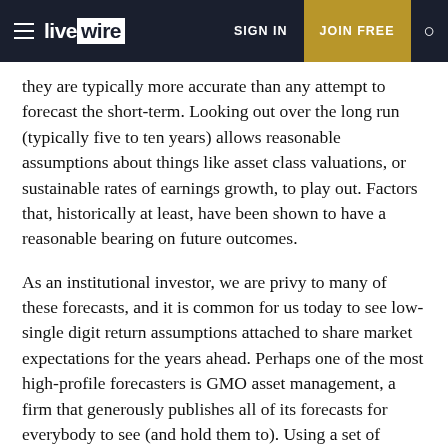livewire | SIGN IN | JOIN FREE
they are typically more accurate than any attempt to forecast the short-term. Looking out over the long run (typically five to ten years) allows reasonable assumptions about things like asset class valuations, or sustainable rates of earnings growth, to play out. Factors that, historically at least, have been shown to have a reasonable bearing on future outcomes.
As an institutional investor, we are privy to many of these forecasts, and it is common for us today to see low-single digit return assumptions attached to share market expectations for the years ahead. Perhaps one of the most high-profile forecasters is GMO asset management, a firm that generously publishes all of its forecasts for everybody to see (and hold them to). Using a set of assumptions that would be common